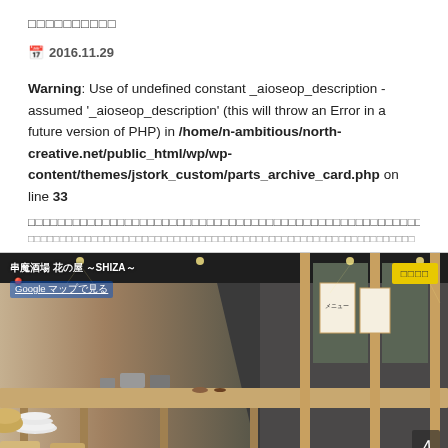□□□□□□□□□□
📅 2016.11.29
Warning: Use of undefined constant _aioseop_description - assumed '_aioseop_description' (this will throw an Error in a future version of PHP) in /home/n-ambitious/north-creative.net/public_html/wp/wp-content/themes/jstork_custom/parts_archive_card.php on line 33
□□□□□□□□□□□□□□□□□□□□□□□□□□□□□□□□□□□□□□□□□□□□□□□□□□□□□□□□□□□□□□□□□□□□□□□□□□□□□□□□□□□□□□□
[Figure (photo): Google Street View / map embed of 串魔酒場 花の屋 ~SHIZA~ restaurant interior with counter seating, wooden furniture, and hanging signs. Yellow badge in top right corner with Japanese text. Google Maps link visible.]